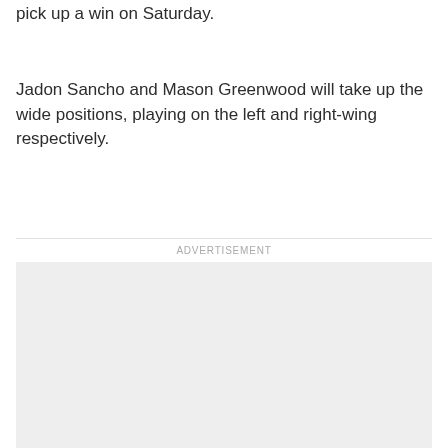pick up a win on Saturday.
Jadon Sancho and Mason Greenwood will take up the wide positions, playing on the left and right-wing respectively.
ADVERTISEMENT